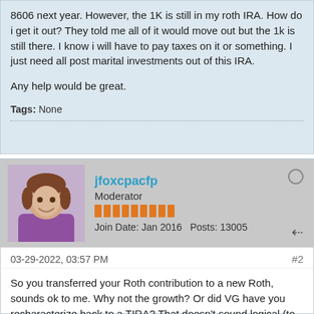8606 next year. However, the 1K is still in my roth IRA. How do i get it out? They told me all of it would move out but the 1k is still there. I know i will have to pay taxes on it or something. I just need all post marital investments out of this IRA.
Any help would be great.
Tags: None
jfoxcpacfp
Moderator
Join Date: Jan 2016   Posts: 13005
03-29-2022, 03:57 PM
#2
So you transferred your Roth contribution to a new Roth, sounds ok to me. Why not the growth? Or did VG have you recharacterize back to a TIRA? That doesn't sound logical (to me) - why would that be necessary?
What are you supposed to do with your premarital investments? Typically, the issue in these situations is to